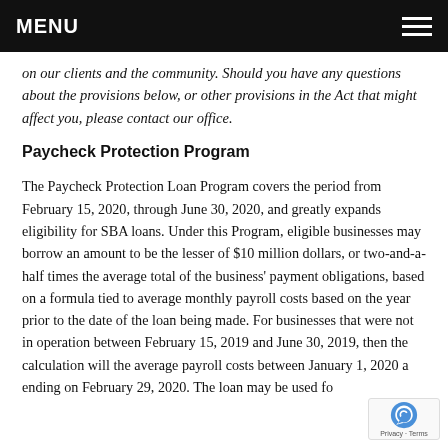MENU
on our clients and the community. Should you have any questions about the provisions below, or other provisions in the Act that might affect you, please contact our office.
Paycheck Protection Program
The Paycheck Protection Loan Program covers the period from February 15, 2020, through June 30, 2020, and greatly expands eligibility for SBA loans. Under this Program, eligible businesses may borrow an amount to be the lesser of $10 million dollars, or two-and-a-half times the average total of the business' payment obligations, based on a formula tied to average monthly payroll costs based on the year prior to the date of the loan being made. For businesses that were not in operation between February 15, 2019 and June 30, 2019, then the calculation will the average payroll costs between January 1, 2020 a ending on February 29, 2020. The loan may be used fo